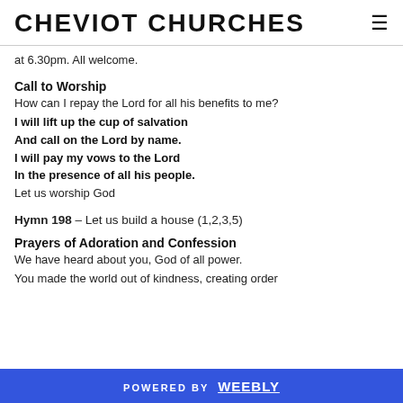CHEVIOT CHURCHES
at 6.30pm. All welcome.
Call to Worship
How can I repay the Lord for all his benefits to me?
I will lift up the cup of salvation
And call on the Lord by name.
I will pay my vows to the Lord
In the presence of all his people.
Let us worship God
Hymn 198 – Let us build a house (1,2,3,5)
Prayers of Adoration and Confession
We have heard about you, God of all power.
You made the world out of kindness, creating order
POWERED BY weebly